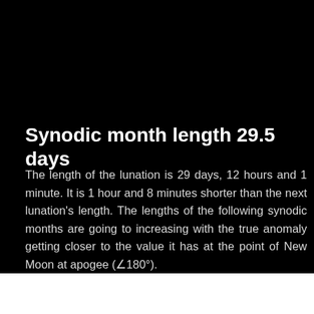Synodic month length 29.5 days
The length of the lunation is 29 days, 12 hours and 1 minute. It is 1 hour and 8 minutes shorter than the next lunation's length. The lengths of the following synodic months are going to increasing with the true anomaly getting closer to the value it has at the point of New Moon at apogee (∠180°).